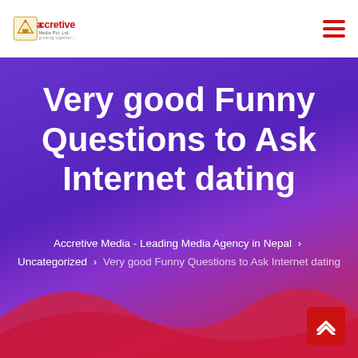Accretive Media Pvt. Ltd. - growing together...
Very good Funny Questions to Ask Internet dating
Accretive Media - Leading Media Agency in Nepal › Uncategorized › Very good Funny Questions to Ask Internet dating